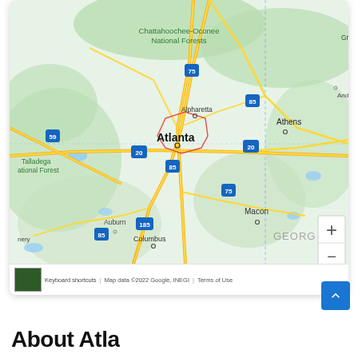[Figure (map): Google Map showing the Atlanta, Georgia area including Chattahoochee-Oconee National Forests, Alpharetta, Athens, Talladega National Forest, Auburn, Columbus, Macon, and interstate highways 59, 75, 85, 20, 185. Atlanta is highlighted with a red boundary polygon. Map data ©2022 Google, INEGI.]
About Atlanta